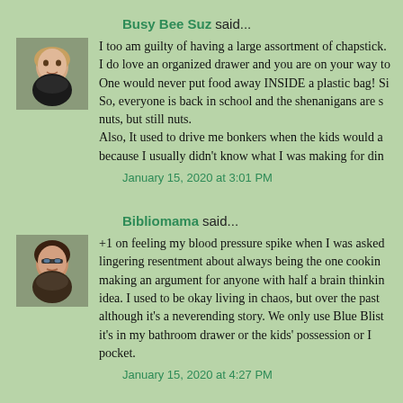Busy Bee Suz said...
[Figure (photo): Avatar photo of Busy Bee Suz, a woman with light hair]
I too am guilty of having a large assortment of chapstick. I do love an organized drawer and you are on your way to one. One would never put food away INSIDE a plastic bag! So, everyone is back in school and the shenanigans are s- nuts, but still nuts. Also, It used to drive me bonkers when the kids would a- because I usually didn't know what I was making for din-
January 15, 2020 at 3:01 PM
Bibliomama said...
[Figure (photo): Avatar photo of Bibliomama, a woman with dark hair and glasses]
+1 on feeling my blood pressure spike when I was asked lingering resentment about always being the one cookin- making an argument for anyone with half a brain thinkin- idea. I used to be okay living in chaos, but over the past although it's a neverending story. We only use Blue Blist- it's in my bathroom drawer or the kids' possession or I pocket.
January 15, 2020 at 4:27 PM